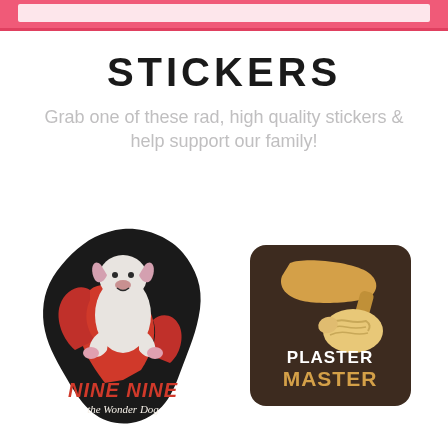[Figure (illustration): Pink/red decorative top bar banner]
STICKERS
Grab one of these rad, high quality stickers & help support our family!
[Figure (illustration): Two sticker product images: 'Nine Nine the Wonder Dog' sticker showing a white dog in a red cape with black border, and 'Plaster Master' sticker showing a hand holding a plaster trowel with brown background]